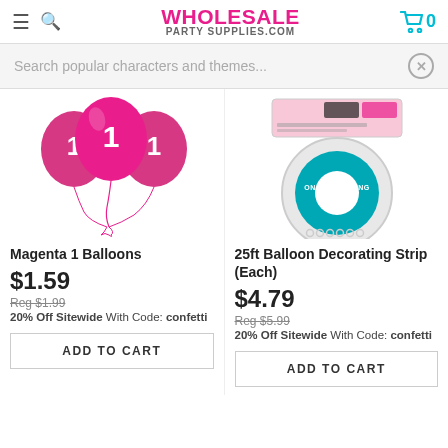WHOLESALE PARTY SUPPLIES.COM
Search popular characters and themes...
[Figure (photo): Pink magenta cluster of balloons with number 1 printed on them]
Magenta 1 Balloons
$1.59
Reg $1.99
20% Off Sitewide With Code: confetti
ADD TO CART
[Figure (photo): 25ft Balloon Decorating Strip Roll product packaging, teal circular roll with white text]
25ft Balloon Decorating Strip (Each)
$4.79
Reg $5.99
20% Off Sitewide With Code: confetti
ADD TO CART